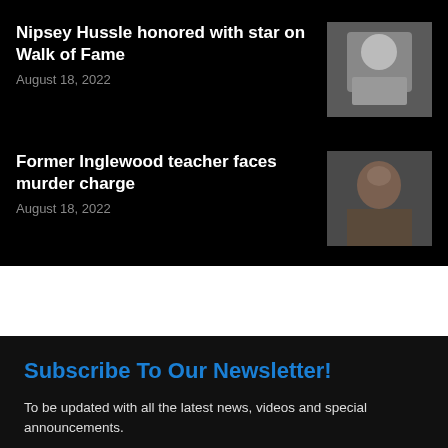Nipsey Hussle honored with star on Walk of Fame
August 18, 2022
[Figure (photo): Photo of a woman with sunglasses and white clothing]
Former Inglewood teacher faces murder charge
August 18, 2022
[Figure (photo): Mugshot-style photo of a man]
Subscribe To Our Newsletter!
To be updated with all the latest news, videos and special announcements.